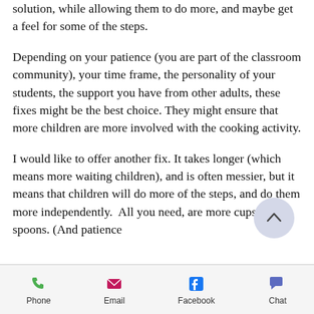solution, while allowing them to do more, and maybe get a feel for some of the steps.
Depending on your patience (you are part of the classroom community), your time frame, the personality of your students, the support you have from other adults, these fixes might be the best choice. They might ensure that more children are more involved with the cooking activity.
I would like to offer another fix. It takes longer (which means more waiting children), and is often messier, but it means that children will do more of the steps, and do them more independently.  All you need, are more cups and spoons. (And patience
[Figure (other): Scroll-to-top circular button with chevron/caret up arrow icon]
Phone  Email  Facebook  Chat